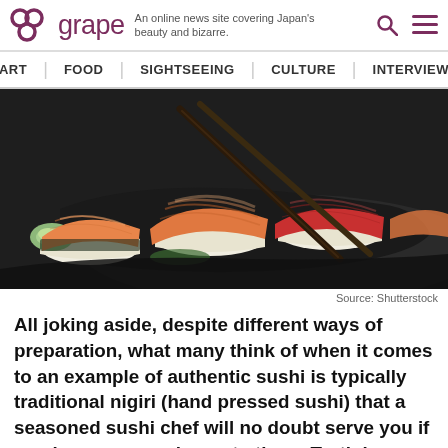grape — An online news site covering Japan's beauty and bizarre.
[Figure (photo): Close-up photo of assorted nigiri sushi pieces on a dark plate with chopsticks picking up a salmon piece]
Source: Shutterstock
All joking aside, despite different ways of preparation, what many think of when it comes to an example of authentic sushi is typically traditional nigiri (hand pressed sushi) that a seasoned sushi chef will no doubt serve you if you leave your order up to them. Truth be